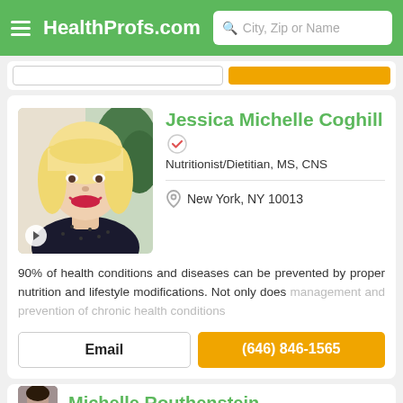HealthProfs.com — City, Zip or Name search bar
Jessica Michelle Coghill
Nutritionist/Dietitian, MS, CNS
New York, NY 10013
90% of health conditions and diseases can be prevented by proper nutrition and lifestyle modifications. Not only does management and prevention of chronic health conditions
Email
(646) 846-1565
Michelle Routhenstein